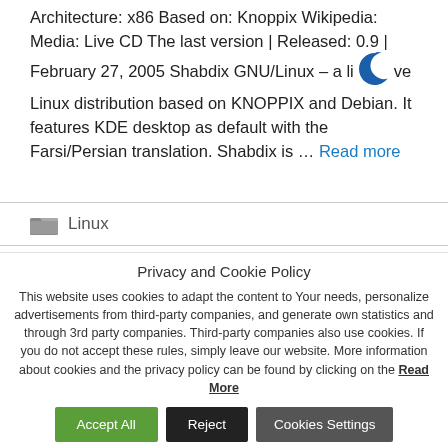Architecture: x86 Based on: Knoppix Wikipedia: Media: Live CD The last version | Released: 0.9 | February 27, 2005 Shabdix GNU/Linux – a live Linux distribution based on KNOPPIX and Debian. It features KDE desktop as default with the Farsi/Persian translation. Shabdix is … Read more
Linux
Privacy and Cookie Policy
This website uses cookies to adapt the content to Your needs, personalize advertisements from third-party companies, and generate own statistics and through 3rd party companies. Third-party companies also use cookies. If you do not accept these rules, simply leave our website. More information about cookies and the privacy policy can be found by clicking on the Read More
Accept All | Reject | Cookies Settings